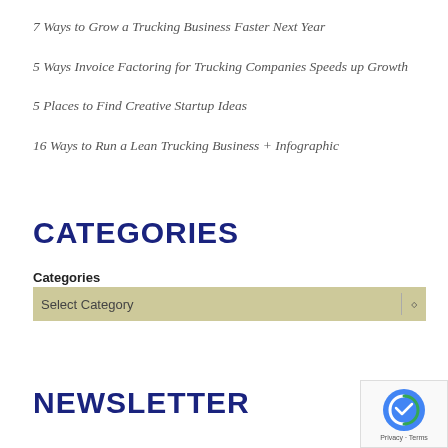7 Ways to Grow a Trucking Business Faster Next Year
5 Ways Invoice Factoring for Trucking Companies Speeds up Growth
5 Places to Find Creative Startup Ideas
16 Ways to Run a Lean Trucking Business + Infographic
CATEGORIES
Categories
Select Category
NEWSLETTER
[Figure (other): reCAPTCHA badge with Privacy and Terms links]